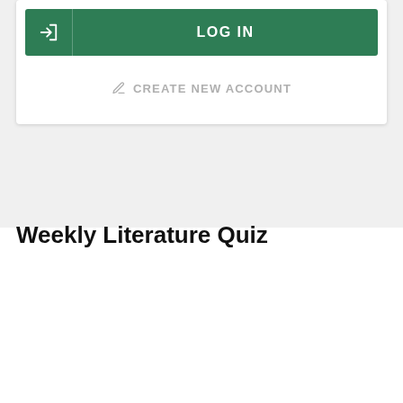[Figure (screenshot): Green LOG IN button with arrow icon on left side]
CREATE NEW ACCOUNT
Weekly Literature Quiz